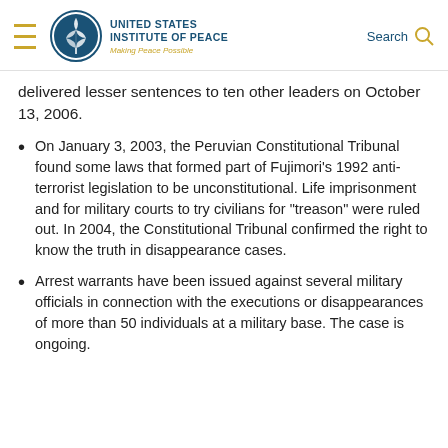United States Institute of Peace — Making Peace Possible
delivered lesser sentences to ten other leaders on October 13, 2006.
On January 3, 2003, the Peruvian Constitutional Tribunal found some laws that formed part of Fujimori's 1992 anti-terrorist legislation to be unconstitutional. Life imprisonment and for military courts to try civilians for "treason" were ruled out. In 2004, the Constitutional Tribunal confirmed the right to know the truth in disappearance cases.
Arrest warrants have been issued against several military officials in connection with the executions or disappearances of more than 50 individuals at a military base. The case is ongoing.